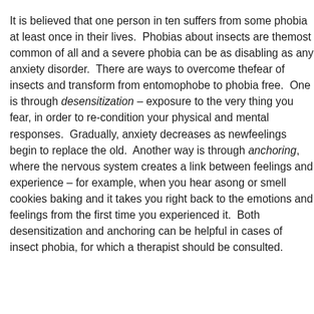It is believed that one person in ten suffers from some phobia at least once in their lives. Phobias about insects are the most common of all and a severe phobia can be as disabling as any anxiety disorder. There are ways to overcome the fear of insects and transform from entomophobe to phobia free. One is through desensitization – exposure to the very thing you fear, in order to re-condition your physical and mental responses. Gradually, anxiety decreases as new feelings begin to replace the old. Another way is through anchoring, where the nervous system creates a link between feelings and experience – for example, when you hear a song or smell cookies baking and it takes you right back to the emotions and feelings from the first time you experienced it. Both desensitization and anchoring can be helpful in cases of insect phobia, for which a therapist should be consulted.